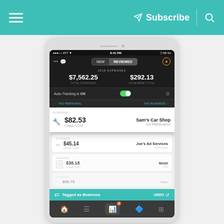Subscribe
[Figure (screenshot): Mobile expense tracking app screenshot showing 2018 expenses with $7,562.25 total expenses and $292.13 November total. Transactions shown: 11/16/2018 - $82.53 Chase *1234 - Sam's Car Shop, Car Maintenance; 11/15/2018 - $45.14 Chase *1234 - Joe's Ad Services, Advertising; 11/16/2018 - $38.18 Chase *1034 - Mobil, Gas. Tagged as Business bar at bottom with UNDO option.]